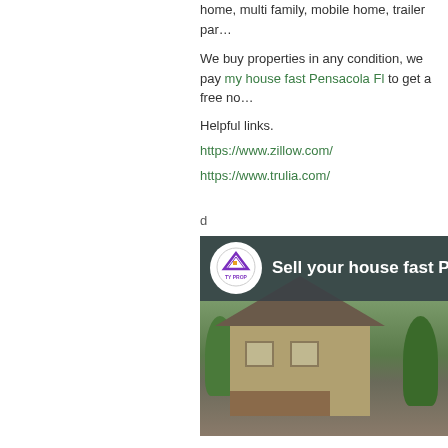home, multi family, mobile home, trailer park...
We buy properties in any condition, we pay... my house fast Pensacola Fl to get a free no...
Helpful links.
https://www.zillow.com/
https://www.trulia.com/
d
[Figure (photo): Real estate company promotional image showing a house with a deck, trees, and overlay logo and text reading 'Sell your house fast P...' with a circular logo reading 'TY PROP']